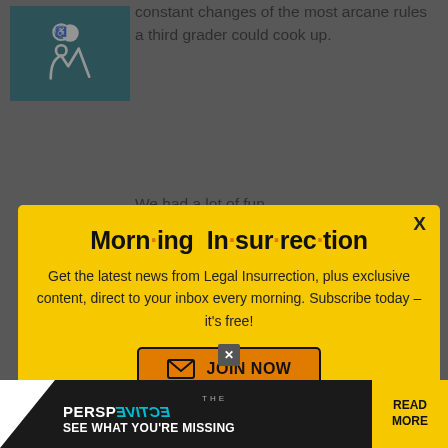[Figure (screenshot): Webpage screenshot showing article text with accessibility icon, overlaid by an email newsletter modal and an advertisement strip at the bottom]
constant changes of the most arcane rules a third grader could cook up.
We had a lot of fun.
Morn·ing In·sur·rec·tion
Get the latest news from Legal Insurrection, plus exclusive content, direct to your inbox every morning. Subscribe today – it's free!
JOIN NOW
changing the current rules are always on display, and all...
it's a lot of fun.
THE PERSPECTIVE — SEE WHAT YOU'RE MISSING — READ MORE